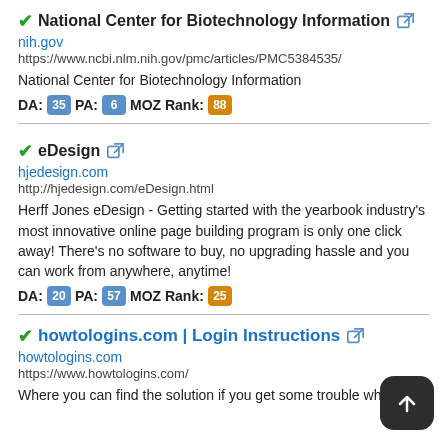National Center for Biotechnology Information
nih.gov
https://www.ncbi.nlm.nih.gov/pmc/articles/PMC5384535/
National Center for Biotechnology Information
DA: 35 PA: 6 MOZ Rank: 88
eDesign
hjedesign.com
http://hjedesign.com/eDesign.html
Herff Jones eDesign - Getting started with the yearbook industry's most innovative online page building program is only one click away! There's no software to buy, no upgrading hassle and you can work from anywhere, anytime!
DA: 20 PA: 57 MOZ Rank: 25
howtologins.com | Login Instructions
howtologins.com
https://www.howtologins.com/
Where you can find the solution if you get some trouble when